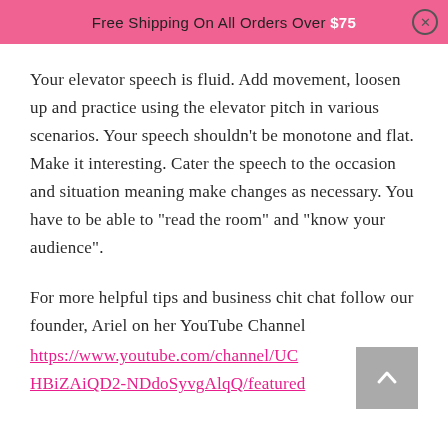Free Shipping On All Orders Over $75
Your elevator speech is fluid. Add movement, loosen up and practice using the elevator pitch in various scenarios. Your speech shouldn't be monotone and flat. Make it interesting. Cater the speech to the occasion and situation meaning make changes as necessary. You have to be able to "read the room" and "know your audience".
For more helpful tips and business chit chat follow our founder, Ariel on her YouTube Channel https://www.youtube.com/channel/UCHBiZAiQD2-NDdoSyvgAlqQ/featured